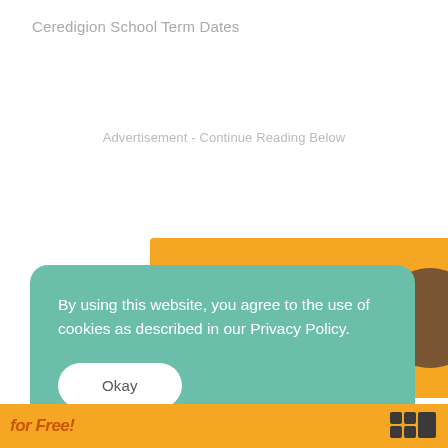Ceredigion School Term Dates
Advertisement - Continue Reading Below
[Figure (screenshot): Partial advertisement banner showing orange/yellow background with circular portrait images, partially obscured by cookie consent overlay]
By using this website, you agree to the use of cookies as described in our Privacy Policy.
Okay